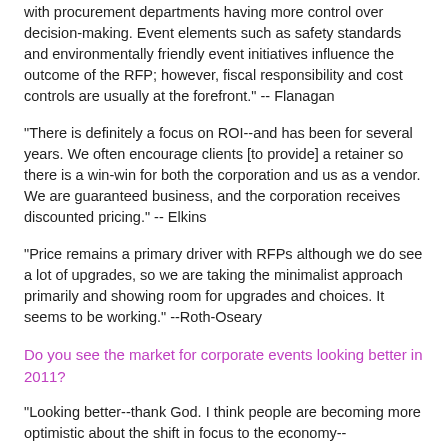with procurement departments having more control over decision-making. Event elements such as safety standards and environmentally friendly event initiatives influence the outcome of the RFP; however, fiscal responsibility and cost controls are usually at the forefront." -- Flanagan
"There is definitely a focus on ROI--and has been for several years. We often encourage clients [to provide] a retainer so there is a win-win for both the corporation and us as a vendor. We are guaranteed business, and the corporation receives discounted pricing." -- Elkins
"Price remains a primary driver with RFPs although we do see a lot of upgrades, so we are taking the minimalist approach primarily and showing room for upgrades and choices. It seems to be working." --Roth-Oseary
Do you see the market for corporate events looking better in 2011?
"Looking better--thank God. I think people are becoming more optimistic about the shift in focus to the economy--